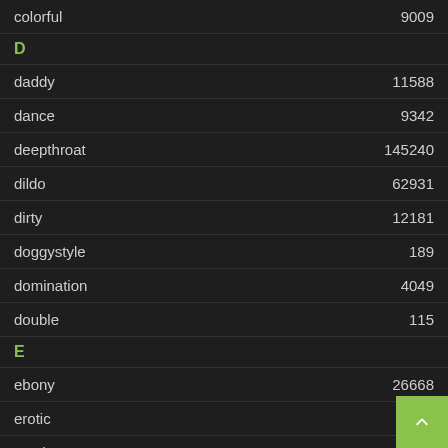colorful  9009
D
daddy  11588
dance  9342
deepthroat  145240
dildo  62931
dirty  12181
doggystyle  189
domination  4049
double  115
E
ebony  26668
erotic  2295
exotic  1683
extreme